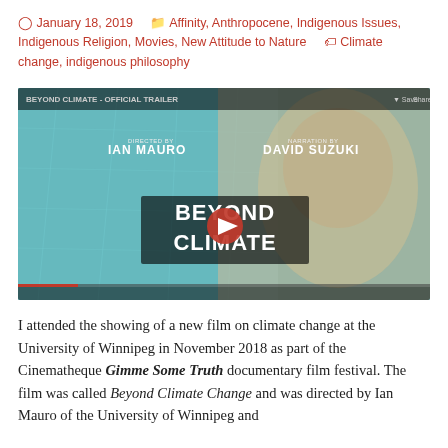January 18, 2019   Affinity, Anthropocene, Indigenous Issues, Indigenous Religion, Movies, New Attitude to Nature   Climate change, indigenous philosophy
[Figure (screenshot): YouTube video thumbnail for 'Beyond Climate - Official Trailer', showing an elderly man's face overlaid on a teal map background, with text: DIRECTED BY IAN MAURO, NARRATION BY DAVID SUZUKI, CINEMATOGRAPHY BY LEN PETERSON, and large text BEYOND CLIMATE with a red play button in the center.]
I attended the showing of a new film on climate change at the University of Winnipeg in November 2018 as part of the Cinematheque Gimme Some Truth documentary film festival. The film was called Beyond Climate Change and was directed by Ian Mauro of the University of Winnipeg and